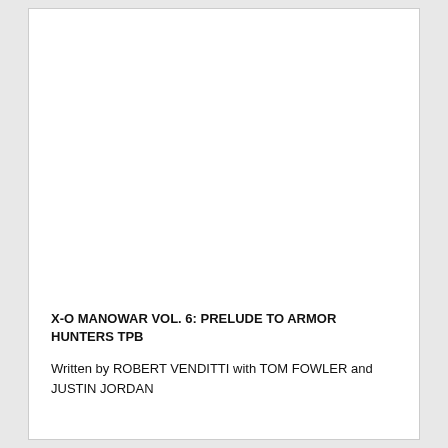X-O MANOWAR VOL. 6: PRELUDE TO ARMOR HUNTERS TPB
Written by ROBERT VENDITTI with TOM FOWLER and JUSTIN JORDAN